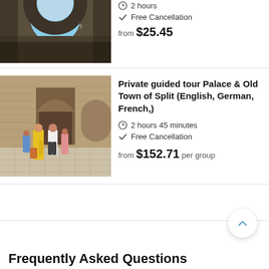[Figure (photo): Stone arch with circular opening revealing blue sky]
2 hours
Free Cancellation
from $25.45
[Figure (photo): Tourists in a stone courtyard of a historic palace with brick walls]
Private guided tour Palace & Old Town of Split (English, German, French,)
2 hours 45 minutes
Free Cancellation
from $152.71 per group
Frequently Asked Questions